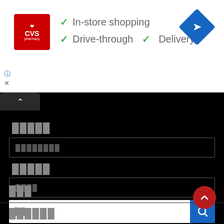[Figure (screenshot): CVS Pharmacy advertisement banner showing CVS logo, In-store shopping, Drive-through, and Delivery checkmarks, and a navigation icon]
[Figure (screenshot): Mobile app interface with dark background showing form fields with placeholder text in a non-Latin script, a search bar with blue search button, and a scroll-to-top FAB button]